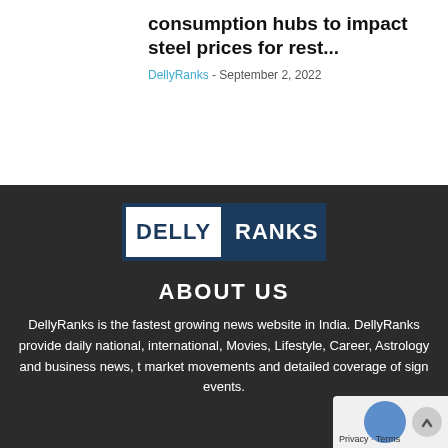consumption hubs to impact steel prices for rest...
DellyRanks - September 2, 2022
[Figure (logo): DellyRanks logo with white DELLY text on navy background and white RANKS text on navy background]
ABOUT US
DellyRanks is the fastest growing news website in India. DellyRanks provide daily national, international, Movies, Lifestyle, Career, Astrology and business news, t market movements and detailed coverage of sign events.